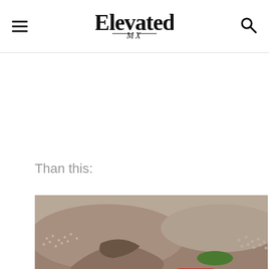Elevated MX
Than this:
[Figure (photo): Aerial view of a motocross track with large crowds of spectators. The track shows dirt hills, jumps, and sponsor banners including Toyota, Scott, and Yamaha. A number 4 gate board is visible in the foreground.]